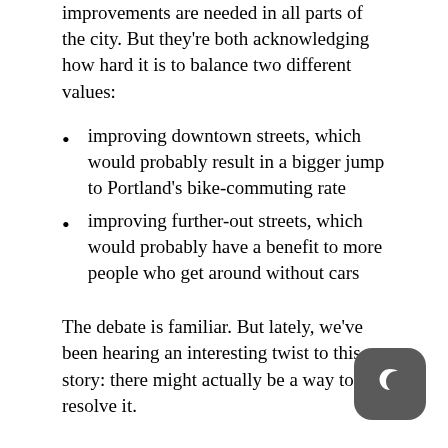improvements are needed in all parts of the city. But they're both acknowledging how hard it is to balance two different values:
improving downtown streets, which would probably result in a bigger jump to Portland's bike-commuting rate
improving further-out streets, which would probably have a benefit to more people who get around without cars
The debate is familiar. But lately, we've been hearing an interesting twist to this story: there might actually be a way to resolve it.
The approach comes from another field that Portlanders tend to think about a lot: public transportation